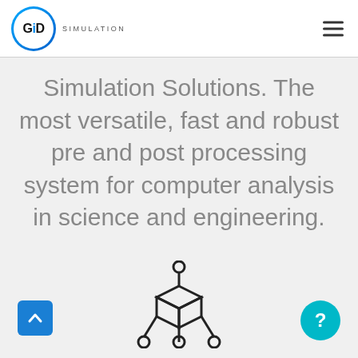[Figure (logo): GiD Simulation logo: circular badge with 'GiD' text in bold, blue circle border, followed by 'SIMULATION' text in small caps]
Simulation Solutions. The most versatile, fast and robust pre and post processing system for computer analysis in science and engineering.
[Figure (illustration): Line-art icon of a 3D cube with a pin/node on top and three nodes at the bottom connected by lines, representing a simulation mesh or network diagram]
[Figure (illustration): Blue square button with white upward chevron arrow (scroll-to-top button)]
[Figure (illustration): Teal/cyan circle button with white question mark (help button)]